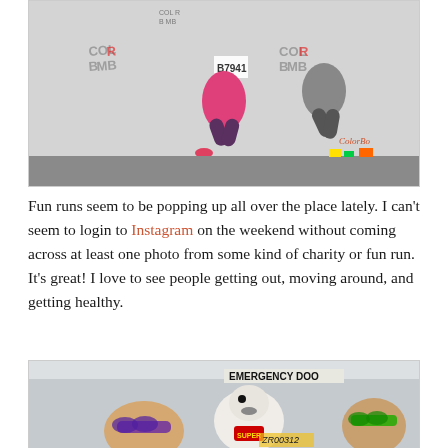[Figure (photo): Two women jumping in the air during a Color Bomb fun run event, wearing race bibs and athletic clothing against a backdrop with COLOR BOMB logos.]
Fun runs seem to be popping up all over the place lately. I can’t seem to login to Instagram on the weekend without coming across at least one photo from some kind of charity or fun run. It’s great! I love to see people getting out, moving around, and getting healthy.
[Figure (photo): People on a bus: two people in the foreground wearing colorful sunglasses, one holding a stuffed animal/toy that appears to be a seal or polar bear, and a man in the background wearing green sunglasses. Sign reads EMERGENCY DOOR.]